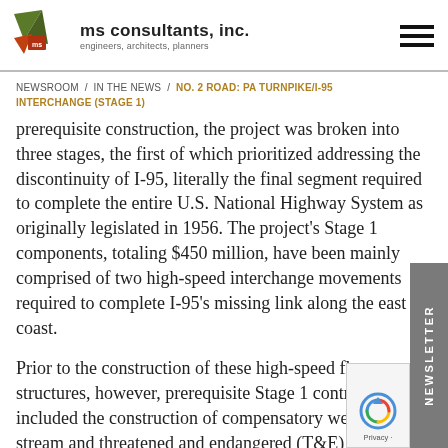ms consultants, inc. — engineers, architects, planners
NEWSROOM / IN THE NEWS / NO. 2 ROAD: PA TURNPIKE/I-95 INTERCHANGE (STAGE 1)
prerequisite construction, the project was broken into three stages, the first of which prioritized addressing the discontinuity of I-95, literally the final segment required to complete the entire U.S. National Highway System as originally legislated in 1956. The project's Stage 1 components, totaling $450 million, have been mainly comprised of two high-speed interchange movements required to complete I-95's missing link along the east coast.
Prior to the construction of these high-speed flyover structures, however, prerequisite Stage 1 contracts included the construction of compensatory wetland, stream and threatened and endangered (T&E) mitigation sites. Additionally, contracts included the replacement of four